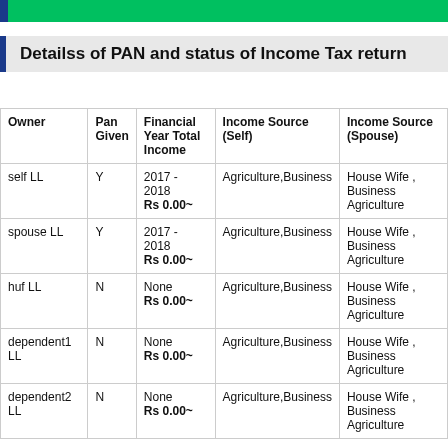Detailss of PAN and status of Income Tax return
| Owner | Pan Given | Financial Year Total Income | Income Source (Self) | Income Source (Spouse) |
| --- | --- | --- | --- | --- |
| self LL | Y | 2017 - 2018
Rs 0.00~ | Agriculture,Business | House Wife ,
Business
Agriculture |
| spouse LL | Y | 2017 - 2018
Rs 0.00~ | Agriculture,Business | House Wife ,
Business
Agriculture |
| huf LL | N | None
Rs 0.00~ | Agriculture,Business | House Wife ,
Business
Agriculture |
| dependent1 LL | N | None
Rs 0.00~ | Agriculture,Business | House Wife ,
Business
Agriculture |
| dependent2 LL | N | None
Rs 0.00~ | Agriculture,Business | House Wife ,
Business
Agriculture |